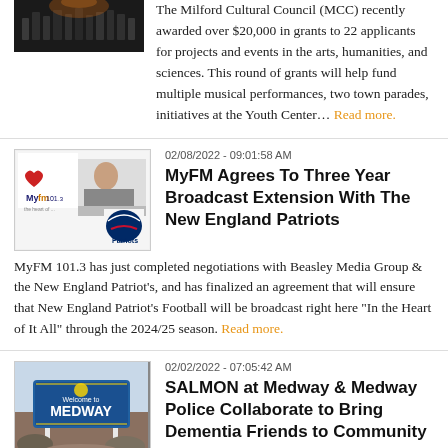[Figure (photo): Dark image of people silhouetted, possibly a concert or gathering]
The Milford Cultural Council (MCC) recently awarded over $20,000 in grants to 22 applicants for projects and events in the arts, humanities, and sciences. This round of grants will help fund multiple musical performances, two town parades, initiatives at the Youth Center... Read more.
02/08/2022 - 09:01:58 AM
[Figure (photo): MyFM 101.3 logo with radio host and New England Patriots logo]
MyFM Agrees To Three Year Broadcast Extension With The New England Patriots
MyFM 101.3 has just completed negotiations with Beasley Media Group & the New England Patriot's, and has finalized an agreement that will ensure that New England Patriot's Football will be broadcast right here "In the Heart of It All" through the 2024/25 season. Read more.
02/02/2022 - 07:05:42 AM
[Figure (photo): Welcome to Medway town sign]
SALMON at Medway & Medway Police Collaborate to Bring Dementia Friends to Community
SALMON at Medway, a senior living community, combines...